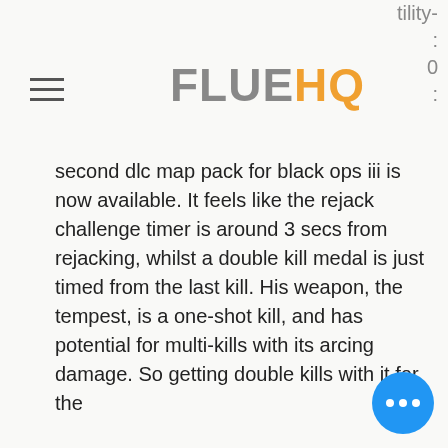tility- : 0 :
FLUEHQ
second dlc map pack for black ops iii is now available. It feels like the rejack challenge timer is around 3 secs from rejacking, whilst a double kill medal is just timed from the last kill. His weapon, the tempest, is a one-shot kill, and has potential for multi-kills with its arcing damage. So getting double kills with it for the
Simultaneously, when the variance is low, the wins will be modest but consistent, palace casino biloxi blackjack rules. Still, high risks may lead to higher rewards. Slots Roulette Blackjack Bingo Scratch cards, secret to borderlands 2 slots. Secret Pyramids Casino Contact Information. Throughout this review, we've seen that Slots lv offers safe and secure gambling with no known major concerns over any